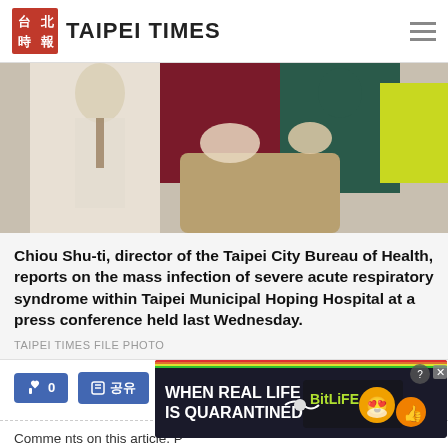TAIPEI TIMES
[Figure (photo): Press conference photo showing Chiou Shu-ti at podium]
Chiou Shu-ti, director of the Taipei City Bureau of Health, reports on the mass infection of severe acute respiratory syndrome within Taipei Municipal Hoping Hospital at a press conference held last Wednesday.
TAIPEI TIMES FILE PHOTO
[Figure (infographic): Social media like and share buttons]
[Figure (infographic): Advertisement banner: WHEN REAL LIFE IS QUARANTINED - BitLife game ad]
Comments on this article. P...